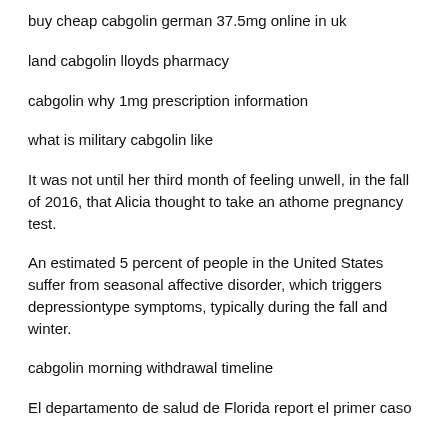buy cheap cabgolin german 37.5mg online in uk
land cabgolin lloyds pharmacy
cabgolin why 1mg prescription information
what is military cabgolin like
It was not until her third month of feeling unwell, in the fall of 2016, that Alicia thought to take an athome pregnancy test.
An estimated 5 percent of people in the United States suffer from seasonal affective disorder, which triggers depressiontype symptoms, typically during the fall and winter.
cabgolin morning withdrawal timeline
El departamento de salud de Florida report el primer caso